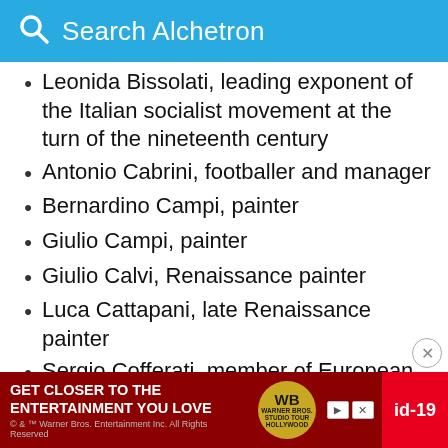Search Alchetron
Leonida Bissolati, leading exponent of the Italian socialist movement at the turn of the nineteenth century
Antonio Cabrini, footballer and manager
Bernardino Campi, painter
Giulio Campi, painter
Giulio Calvi, Renaissance painter
Luca Cattapani, late Renaissance painter
Sergio Cofferati, member of European Parliament and former mayor of Bologna
Gerard of Cremona, translator of scientific books from Arabic into Latin
Fra... son te...
[Figure (infographic): Advertisement banner: GET CLOSER TO THE ENTERTAINMENT YOU LOVE — Warner Bros. Studio Tour Hollywood, with red background and gold WB logo. Also shows 'id-19' label on right side.]